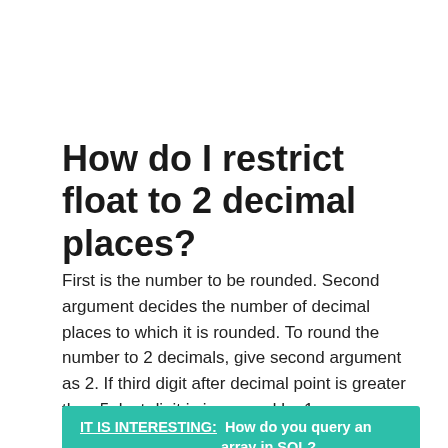How do I restrict float to 2 decimal places?
First is the number to be rounded. Second argument decides the number of decimal places to which it is rounded. To round the number to 2 decimals, give second argument as 2. If third digit after decimal point is greater than 5, last digit is increased by 1.
IT IS INTERESTING:  How do you query an array in SQL?